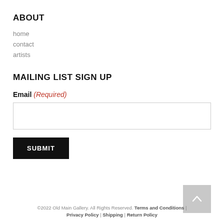ABOUT
home
contact
artists
MAILING LIST SIGN UP
Email (Required)
SUBMIT
©2022 Old Main Gallery. All Rights Reserved. Terms and Conditions | Privacy Policy | Shipping | Return Policy